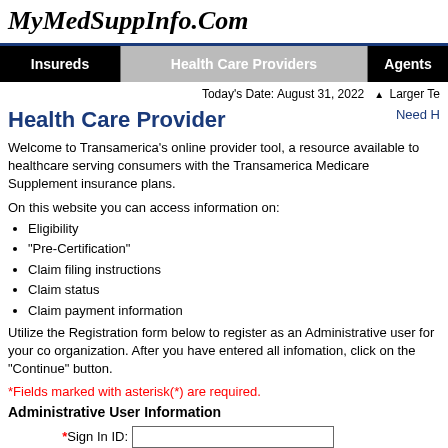MyMedSuppInfo.Com
Insureds | Health Care Providers | Agents
Today's Date: August 31, 2022  ▲ Larger Text
Health Care Provider
Welcome to Transamerica's online provider tool, a resource available to healthcare serving consumers with the Transamerica Medicare Supplement insurance plans.
On this website you can access information on:
Eligibility
"Pre-Certification"
Claim filing instructions
Claim status
Claim payment information
Utilize the Registration form below to register as an Administrative user for your organization. After you have entered all infomation, click on the "Continue" button.
*Fields marked with asterisk(*) are required.
Administrative User Information
*Sign In ID:
*First Name: